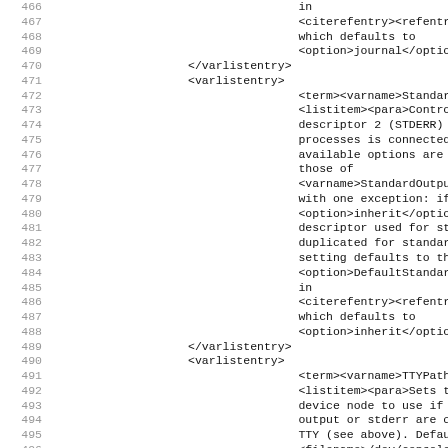Code listing lines 466-498 showing XML configuration markup for varlistentry, term, listitem elements related to StandardOutput, StandardError, and TTYPath settings.